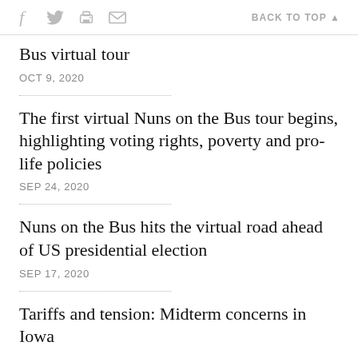f  [twitter] [print] [mail]   BACK TO TOP ▲
Bus virtual tour
OCT 9, 2020
The first virtual Nuns on the Bus tour begins, highlighting voting rights, poverty and pro-life policies
SEP 24, 2020
Nuns on the Bus hits the virtual road ahead of US presidential election
SEP 17, 2020
Tariffs and tension: Midterm concerns in Iowa